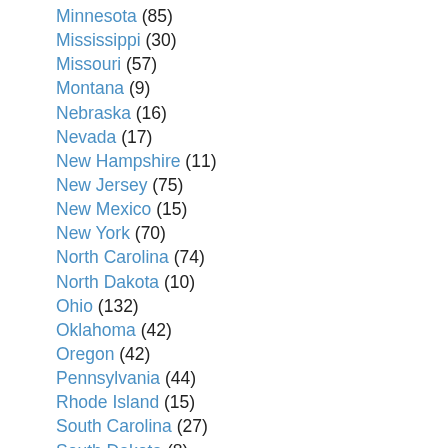Minnesota (85)
Mississippi (30)
Missouri (57)
Montana (9)
Nebraska (16)
Nevada (17)
New Hampshire (11)
New Jersey (75)
New Mexico (15)
New York (70)
North Carolina (74)
North Dakota (10)
Ohio (132)
Oklahoma (42)
Oregon (42)
Pennsylvania (44)
Rhode Island (15)
South Carolina (27)
South Dakota (8)
Tennessee (53)
Texas (217)